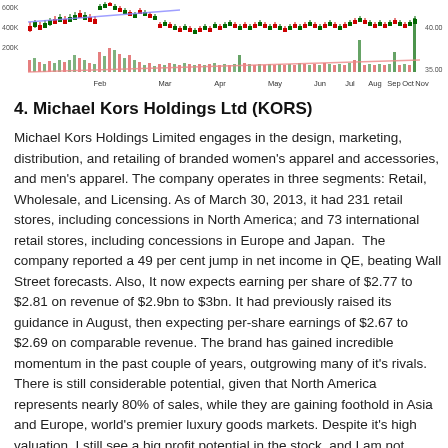[Figure (continuous-plot): Stock price and volume chart for KORS showing candlestick price data and volume bars from February through November, with price range approximately 35-40 on right axis and volume up to 600K on left axis. A blue trend line and orange line overlay the candlestick chart.]
4. Michael Kors Holdings Ltd (KORS)
Michael Kors Holdings Limited engages in the design, marketing, distribution, and retailing of branded women's apparel and accessories, and men's apparel. The company operates in three segments: Retail, Wholesale, and Licensing. As of March 30, 2013, it had 231 retail stores, including concessions in North America; and 73 international retail stores, including concessions in Europe and Japan.  The company reported a 49 per cent jump in net income in QE, beating Wall Street forecasts. Also, It now expects earning per share of $2.77 to $2.81 on revenue of $2.9bn to $3bn. It had previously raised its guidance in August, then expecting per-share earnings of $2.67 to $2.69 on comparable revenue. The brand has gained incredible momentum in the past couple of years, outgrowing many of it's rivals. There is still considerable potential, given that North America represents nearly 80% of sales, while they are gaining foothold in Asia and Europe, world's premier luxury goods markets. Despite it's high valuation, I still see a big profit potential in the stock, and I am not